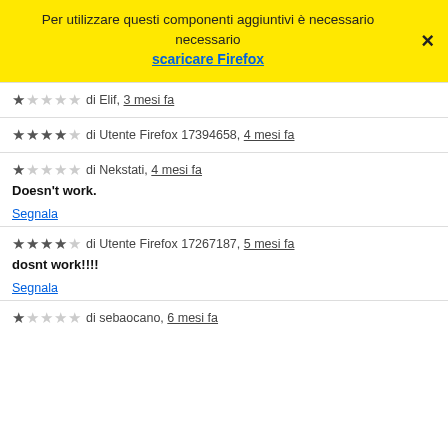Per utilizzare questi componenti aggiuntivi è necessario scaricare Firefox
★☆☆☆☆ di Elif, 3 mesi fa
★★★★☆ di Utente Firefox 17394658, 4 mesi fa
★☆☆☆☆ di Nekstati, 4 mesi fa
Doesn't work.
Segnala
★★★★☆ di Utente Firefox 17267187, 5 mesi fa
dosnt work!!!!
Segnala
★☆☆☆☆ di sebaocano, 6 mesi fa